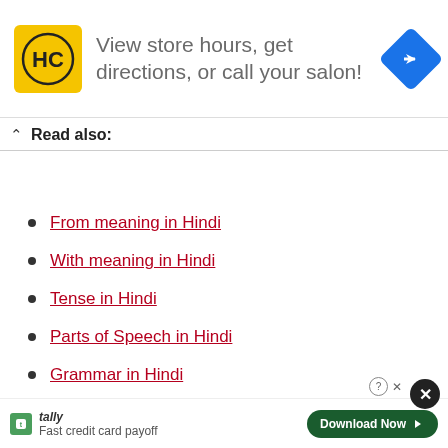[Figure (other): Advertisement banner for a salon brand (HC logo in yellow square) with text 'View store hours, get directions, or call your salon!' and a blue direction arrow icon]
Read also:
From meaning in Hindi
With meaning in Hindi
Tense in Hindi
Parts of Speech in Hindi
Grammar in Hindi
Vegetables Name Video
Hindi text (video description lines)
[Figure (other): Tally app advertisement: 'Fast credit card payoff' with a Download Now button]